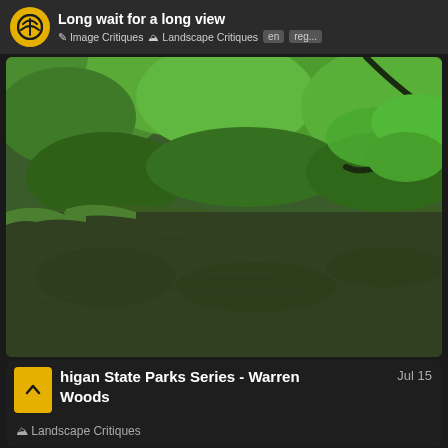Long wait for a long view | Image Critiques | Landscape Critiques | en | reg...
[Figure (photo): Photograph of a calm, reflective pond or stream surrounded by dense green trees and shrubs, with tree branches hanging over the water from the right side. Lush green vegetation covers the background.]
higan State Parks Series - Warren Woods   Jul 15
Landscape Critiques
[Figure (photo): Bottom strip of a partially visible photo showing textured orange-brown surface, likely dried leaves or bark.]